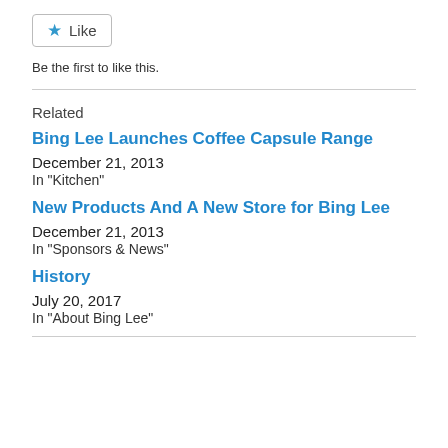[Figure (other): Like button with star icon and 'Like' text]
Be the first to like this.
Related
Bing Lee Launches Coffee Capsule Range
December 21, 2013
In "Kitchen"
New Products And A New Store for Bing Lee
December 21, 2013
In "Sponsors & News"
History
July 20, 2017
In "About Bing Lee"